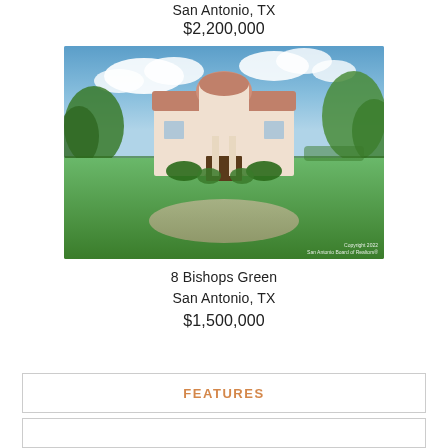San Antonio, TX
$2,200,000
[Figure (photo): Exterior photo of a luxury Mediterranean-style home with terracotta roof, arched entryway, large front lawn, circular driveway, and trees on either side under a blue sky with clouds. Watermark reads: Copyright 2022 San Antonio Board of Realtors®]
8 Bishops Green
San Antonio, TX
$1,500,000
FEATURES